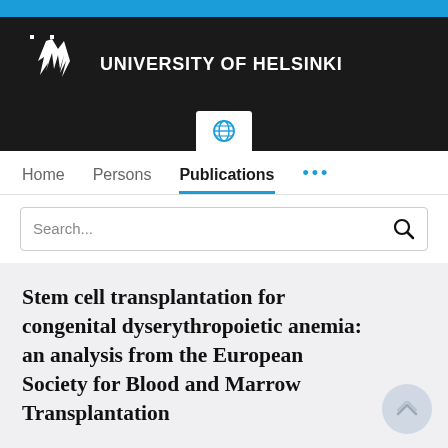UNIVERSITY OF HELSINKI
[Figure (logo): University of Helsinki logo — white flame/crown emblem on dark background with cyan top bar]
[Figure (screenshot): Globe icon tab (language/locale selector)]
Home  Persons  Publications  ...
Search...
Stem cell transplantation for congenital dyserythropoietic anemia: an analysis from the European Society for Blood and Marrow Transplantation